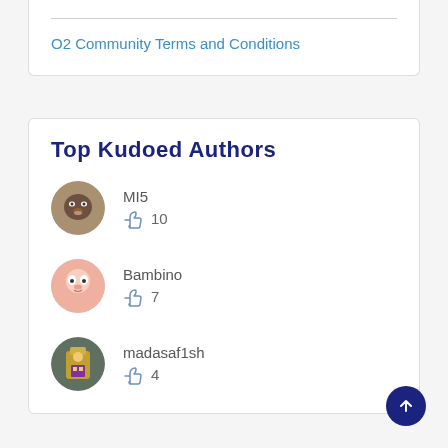O2 Community Terms and Conditions
Top Kudoed Authors
MI5  👍 10
Bambino  👍 7
madasaf1sh  👍 4